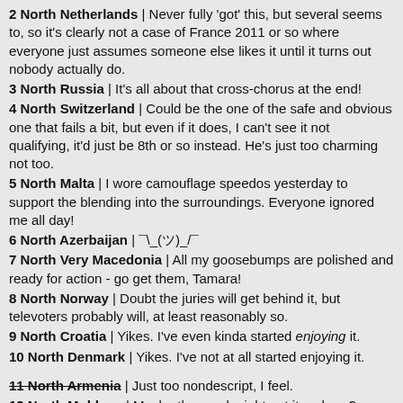2 North Netherlands | Never fully 'got' this, but several seems to, so it's clearly not a case of France 2011 or so where everyone just assumes someone else likes it until it turns out nobody actually do.
3 North Russia | It's all about that cross-chorus at the end!
4 North Switzerland | Could be the one of the safe and obvious one that fails a bit, but even if it does, I can't see it not qualifying, it'd just be 8th or so instead. He's just too charming not too.
5 North Malta | I wore camouflage speedos yesterday to support the blending into the surroundings. Everyone ignored me all day!
6 North Azerbaijan | ¯\_(ツ)_/¯
7 North Very Macedonia | All my goosebumps are polished and ready for action - go get them, Tamara!
8 North Norway | Doubt the juries will get behind it, but televoters probably will, at least reasonably so.
9 North Croatia | Yikes. I've even kinda started enjoying it.
10 North Denmark | Yikes. I've not at all started enjoying it.
11 North Armenia | Just too nondescript, I feel.
12 North Moldova | Maybe the sand might get it up here?